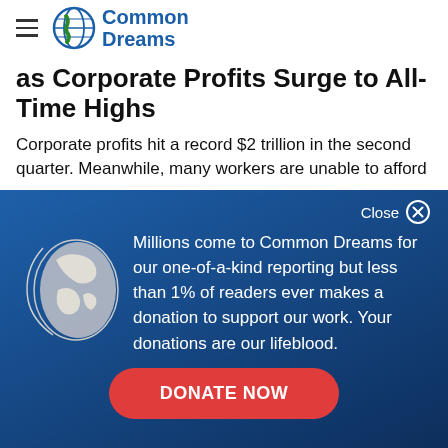Common Dreams
as Corporate Profits Surge to All-Time Highs
Corporate profits hit a record $2 trillion in the second quarter. Meanwhile, many workers are unable to afford
[Figure (screenshot): Common Dreams donation modal overlay with globe icon, text about readership and donations, and a red DONATE NOW button on a dark blue gradient background.]